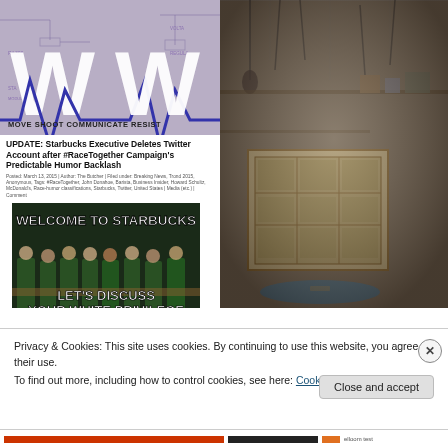[Figure (screenshot): Website logo with large white W letters on purple/mauve background with circuit diagram elements and text MOVE SHOOT COMMUNICATE RESIST]
[Figure (photo): Garage/workshop interior with tools, wooden cabinet, and blue mat on floor, heavily vignette-processed photo]
UPDATE: Starbucks Executive Deletes Twitter Account after #RaceTogether Campaign's Predictable Humor Backlash
Posted: March 13, 2015 | Author: The Butcher | Filed under: Breaking News, Featured 2015, Anonymous, Tags: #RaceTogether, John Donahoe, Barista, Business Insider, Howard Schultz, McDonald's, Race-humor classifications, Starbucks, Twitter, United States | Media (etc.) | Comment
[Figure (screenshot): Meme image of Starbucks employees in green aprons with text WELCOME TO STARBUCKS / LET'S DISCUSS YOUR WHITE PRIVILEGE on dark background]
Privacy & Cookies: This site uses cookies. By continuing to use this website, you agree to their use.
To find out more, including how to control cookies, see here: Cookie Policy
Close and accept